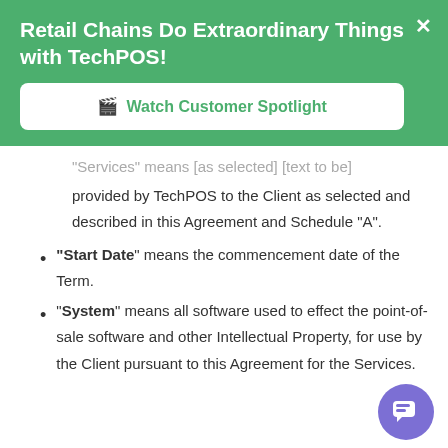Retail Chains Do Extraordinary Things with TechPOS!
[Figure (screenshot): Green promotional banner with 'Watch Customer Spotlight' button and close X button]
"Services" means [as selected] [text to be] provided by TechPOS to the Client as selected and described in this Agreement and Schedule “A”.
“Start Date” means the commencement date of the Term.
“System” means all software used to effect the point-of-sale software and other Intellectual Property, for use by the Client pursuant to this Agreement for the Services.